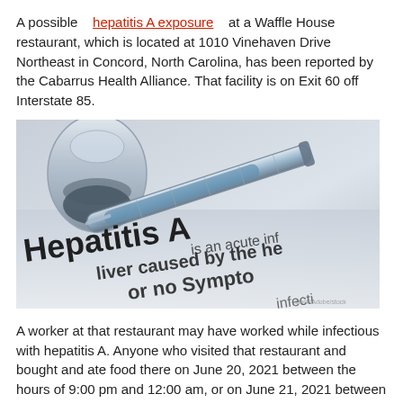A possible hepatitis A exposure at a Waffle House restaurant, which is located at 1010 Vinehaven Drive Northeast in Concord, North Carolina, has been reported by the Cabarrus Health Alliance. That facility is on Exit 60 off Interstate 85.
[Figure (photo): Close-up photo of a medical syringe and vial lying on a document with large text reading 'Hepatitis A is an acute inf... liver caused by the he... or no Sympto... infecti...']
A worker at that restaurant may have worked while infectious with hepatitis A. Anyone who visited that restaurant and bought and ate food there on June 20, 2021 between the hours of 9:00 pm and 12:00 am, or on June 21, 2021 between